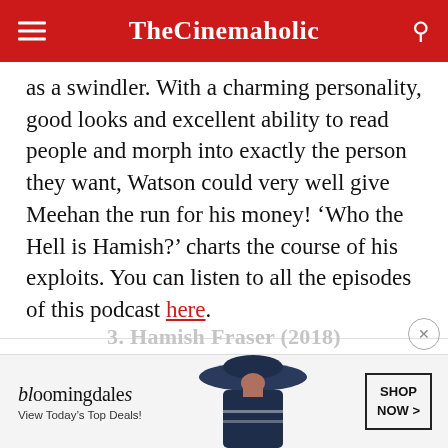TheCinemaholic
as a swindler. With a charming personality, good looks and excellent ability to read people and morph into exactly the person they want, Watson could very well give Meehan the run for his money! ‘Who the Hell is Hamish?’ charts the course of his exploits. You can listen to all the episodes of this podcast here.
Read More: Podcasts Like Serial
[Figure (screenshot): Bloomingdale's advertisement banner with logo, 'View Today's Top Deals!' text, fashion photo, and 'SHOP NOW >' button]